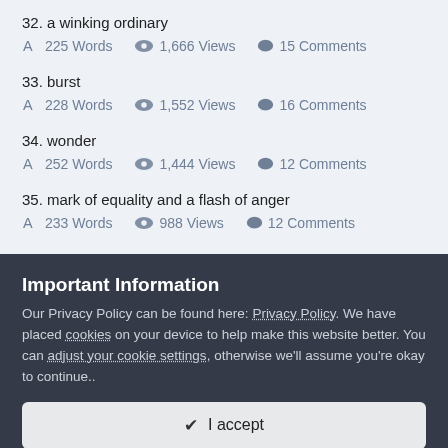32. a winking ordinary — 225 Words, 1,666 Views, 15 Comments
33. burst — 228 Words, 1,552 Views, 16 Comments
34. wonder — 252 Words, 1,444 Views, 12 Comments
35. mark of equality and a flash of anger — 233 Words, 988 Views, 12 Comments
Important Information
Our Privacy Policy can be found here: Privacy Policy. We have placed cookies on your device to help make this website better. You can adjust your cookie settings, otherwise we'll assume you're okay to continue..
✔ I accept